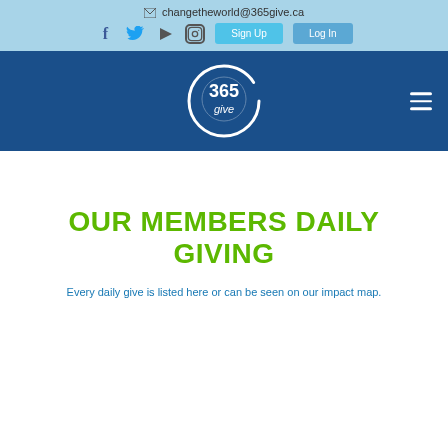changetheworld@365give.ca
[Figure (logo): 365give logo — circular brush-stroke design with '365 give' text in white on blue background]
OUR MEMBERS DAILY GIVING
Every daily give is listed here or can be seen on our impact map.